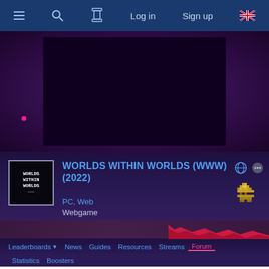≡  🔍  [filter]  Log in  Sign up  🇬🇧
[Figure (screenshot): Dark purple game banner/hero image with a dark inner rectangle]
[Figure (screenshot): Worlds Within Worlds pixel art game logo icon - text in box]
WORLDS WITHIN WORLDS (WWW) (2022)
PC, Web
Webgame
Leaderboards ▼  News  Guides  Resources  Streams  Forum  Statistics  Boosters
WORLDS WITHIN WORLDS (WWW) FORUM / IGT VS RTA